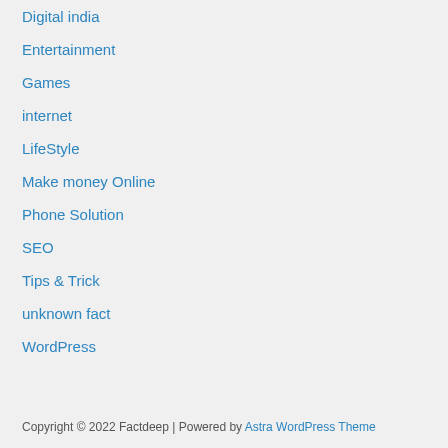Digital india
Entertainment
Games
internet
LifeStyle
Make money Online
Phone Solution
SEO
Tips & Trick
unknown fact
WordPress
Copyright © 2022 Factdeep | Powered by Astra WordPress Theme